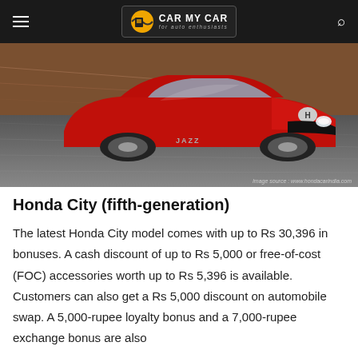CAR MY CAR
[Figure (photo): Front view of a red Honda Jazz car in motion on a road, with motion blur effect. Image source: www.hondacarindia.com]
Honda City (fifth-generation)
The latest Honda City model comes with up to Rs 30,396 in bonuses. A cash discount of up to Rs 5,000 or free-of-cost (FOC) accessories worth up to Rs 5,396 is available. Customers can also get a Rs 5,000 discount on automobile swap. A 5,000-rupee loyalty bonus and a 7,000-rupee exchange bonus are also